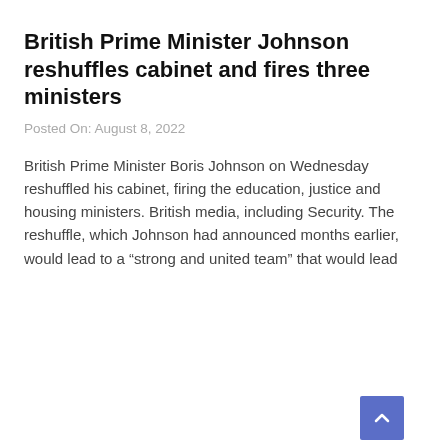British Prime Minister Johnson reshuffles cabinet and fires three ministers
Posted On: August 8, 2022
British Prime Minister Boris Johnson on Wednesday reshuffled his cabinet, firing the education, justice and housing ministers. British media, including Security. The reshuffle, which Johnson had announced months earlier, would lead to a “strong and united team” that would lead
[Figure (other): Grey placeholder image area with a POLITICS category tag in blue and a scroll-to-top button in the bottom right corner]